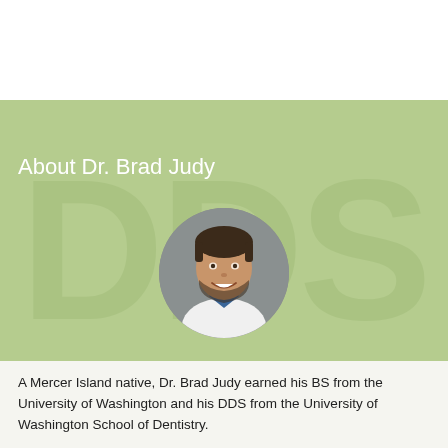About Dr. Brad Judy
[Figure (photo): Circular headshot photo of Dr. Brad Judy, a man with short dark hair and beard wearing a white lab coat over a blue shirt, with a gray studio background.]
A Mercer Island native, Dr. Brad Judy earned his BS from the University of Washington and his DDS from the University of Washington School of Dentistry.